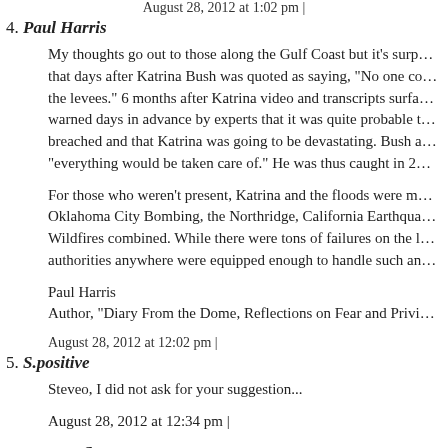August 28, 2012 at 1:02 pm |
4. Paul Harris
My thoughts go out to those along the Gulf Coast but it's surp... that days after Katrina Bush was quoted as saying, "No one co... the levees." 6 months after Katrina video and transcripts surfa... warned days in advance by experts that it was quite probable t... breached and that Katrina was going to be devastating. Bush a... "everything would be taken care of." He was thus caught in 2...
For those who weren't present, Katrina and the floods were m... Oklahoma City Bombing, the Northridge, California Earthqua... Wildfires combined. While there were tons of failures on the l... authorities anywhere were equipped enough to handle such an...
Paul Harris
Author, "Diary From the Dome, Reflections on Fear and Privi...
August 28, 2012 at 12:02 pm |
5. S.positive
Steveo, I did not ask for your suggestion...
August 28, 2012 at 12:34 pm |
Steveo